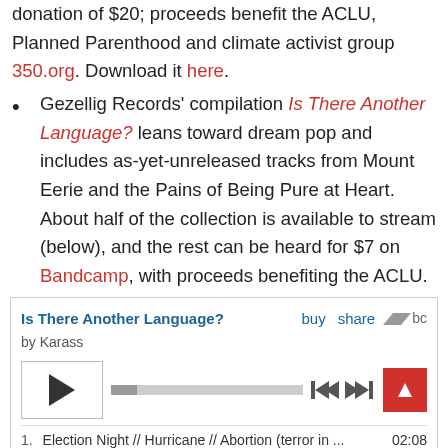donation of $20; proceeds benefit the ACLU, Planned Parenthood and climate activist group 350.org. Download it here.
Gezellig Records' compilation Is There Another Language? leans toward dream pop and includes as-yet-unreleased tracks from Mount Eerie and the Pains of Being Pure at Heart. About half of the collection is available to stream (below), and the rest can be heard for $7 on Bandcamp, with proceeds benefiting the ACLU.
[Figure (screenshot): Bandcamp embedded music player widget for 'Is There Another Language?' by Karass, showing play button, progress bar, skip controls, and first track 'Election Night // Hurricane // Abortion (terror in ...' with timestamp 02:08]